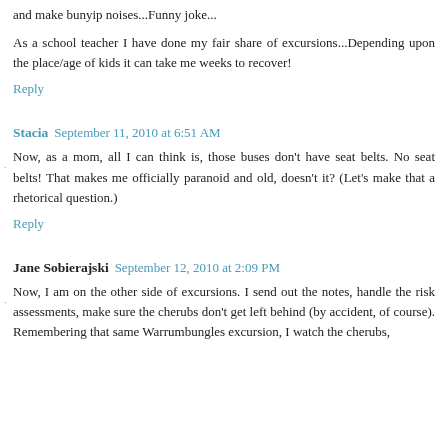and make bunyip noises...Funny joke...
As a school teacher I have done my fair share of excursions...Depending upon the place/age of kids it can take me weeks to recover!
Reply
Stacia  September 11, 2010 at 6:51 AM
Now, as a mom, all I can think is, those buses don't have seat belts. No seat belts! That makes me officially paranoid and old, doesn't it? (Let's make that a rhetorical question.)
Reply
Jane Sobierajski  September 12, 2010 at 2:09 PM
Now, I am on the other side of excursions. I send out the notes, handle the risk assessments, make sure the cherubs don't get left behind (by accident, of course). Remembering that same Warrumbungles excursion, I watch the cherubs, and particularly that same brook...VERY CLOSELY!!